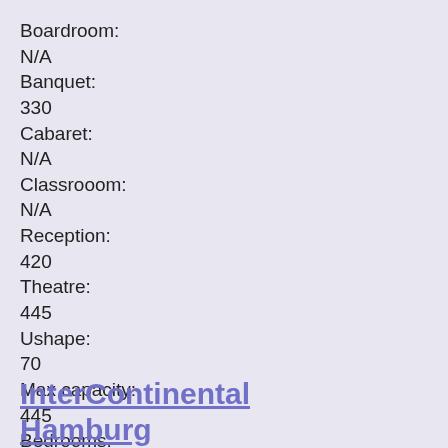Boardroom:
N/A
Banquet:
330
Cabaret:
N/A
Classrooom:
N/A
Reception:
420
Theatre:
445
Ushape:
70
Max capacity:
445
Bedrooms:
N/A
InterContinental Hamburg